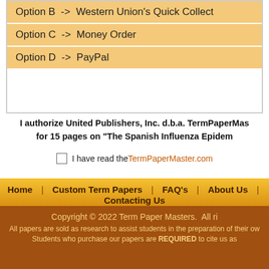Option B -> Western Union's Quick Collect
Option C -> Money Order
Option D -> PayPal
I authorize United Publishers, Inc. d.b.a. TermPaperMasters.com for 15 pages on "The Spanish Influenza Epidemic"
I have read the TermPaperMaster.com
I AGREE! SEND ME THE P
I DO NOT AGREE / VOID O
Home | Custom Term Papers | FAQ's | About Us | Contacting Us
Copyright © 2022 Term Paper Masters. All ri
All papers are sold as research to assist students in the preparation of their ow students who purchase our papers are REQUIRED to cite us as